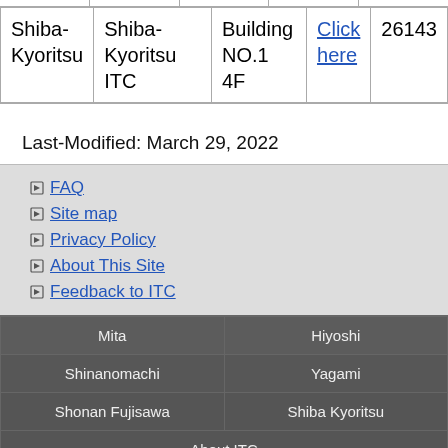|  |  |  |  |  |
| --- | --- | --- | --- | --- |
| Shiba-Kyoritsu | Shiba-Kyoritsu ITC | Building NO.1 4F | Click here | 26143 |
Last-Modified: March 29, 2022
FAQ
Site map
Privacy Policy
About This Site
Feedback to ITC
| Mita | Hiyoshi |
| Shinanomachi | Yagami |
| Shonan Fujisawa | Shiba Kyoritsu |
| About ITC |  |
Copyright (C) 2010 - 2022 Keio University All Rights Reserved.